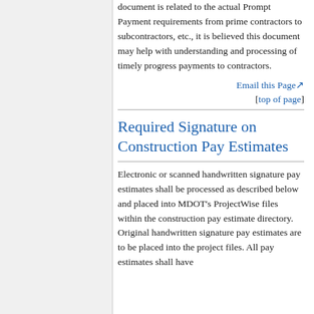document is related to the actual Prompt Payment requirements from prime contractors to subcontractors, etc., it is believed this document may help with understanding and processing of timely progress payments to contractors.
Email this Page
[top of page]
Required Signature on Construction Pay Estimates
Electronic or scanned handwritten signature pay estimates shall be processed as described below and placed into MDOT's ProjectWise files within the construction pay estimate directory. Original handwritten signature pay estimates are to be placed into the project files. All pay estimates shall have